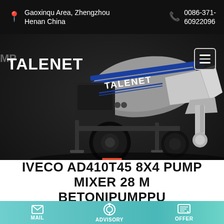Gaoxinqu Area, Zhengzhou Henan China | 0086-371-60922096
[Figure (photo): Gray concrete pump mixer truck trailer with TALENET branding, shown on dark background. The machine has large black wheels, a mixing hopper, and mechanical pump assembly.]
IVECO AD410T45 8X4 PUMP MIXER 28 M BETONIPUMPPU
MAIL | ADVISORY | OFFER